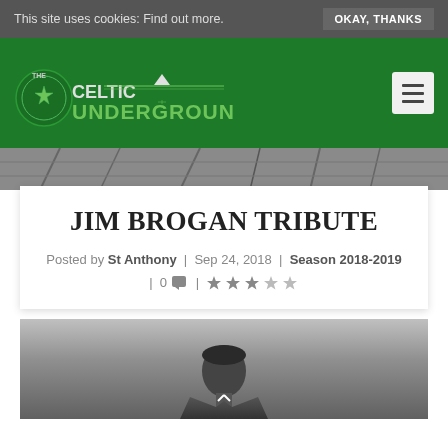This site uses cookies: Find out more. OKAY, THANKS
[Figure (logo): The Celtic Underground logo on green header with hamburger menu button]
[Figure (photo): Grayscale stadium background image]
JIM BROGAN TRIBUTE
Posted by St Anthony | Sep 24, 2018 | Season 2018-2019 | 0 💬 | ★★★☆☆
[Figure (photo): Black and white photograph, partially visible, showing a person]